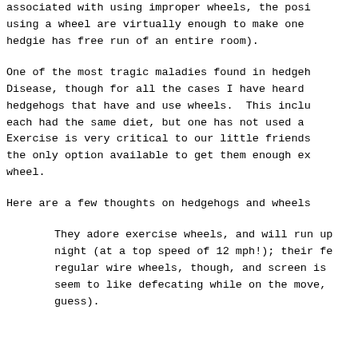associated with using improper wheels, the pos using a wheel are virtually enough to make one hedgie has free run of an entire room).
One of the most tragic maladies found in hedgeh Disease, though for all the cases I have heard hedgehogs that have and use wheels. This inclu each had the same diet, but one has not used a Exercise is very critical to our little friends the only option available to get them enough ex wheel.
Here are a few thoughts on hedgehogs and wheels
They adore exercise wheels, and will run up night (at a top speed of 12 mph!); their fe regular wire wheels, though, and screen is seem to like defecating while on the move, guess).